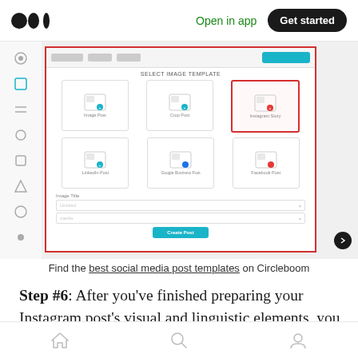Medium logo | Open in app | Get started
[Figure (screenshot): Screenshot of Circleboom interface showing a social media post template selector with a red border highlight around the grid of template options including Image Post options. A red box highlights 'Instagram Story' option in the top row.]
Find the best social media post templates on Circleboom
Step #6: After you've finished preparing your Instagram post's visual and linguistic elements, you can select what to do with it. You can publish right now by clicking “Post.”
Home | Search | Profile